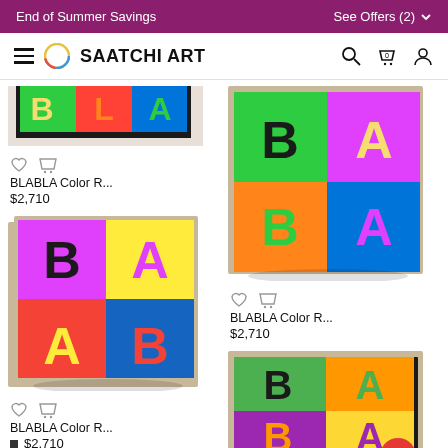End of Summer Savings    See Offers (2)
[Figure (screenshot): Saatchi Art website navigation bar with hamburger menu, circular logo, SAATCHI ART text, search, cart, and user icons]
[Figure (photo): BLABLA Color R... artwork - colorful letters BLA on framed canvas, partially visible at top]
BLABLA Color R...
$2,710
[Figure (photo): BLABLA Color R... artwork - colorful letters BA LA on framed square canvas with wood frame]
BLABLA Color R...
$2,710
[Figure (photo): BLABLA Color R... artwork - colorful letters BLABLA on framed canvas with wood frame]
BLABLA Color R...
$2,710
[Figure (photo): BLABLA Color R... artwork - partially visible at bottom right, with SOLD red badge overlay]